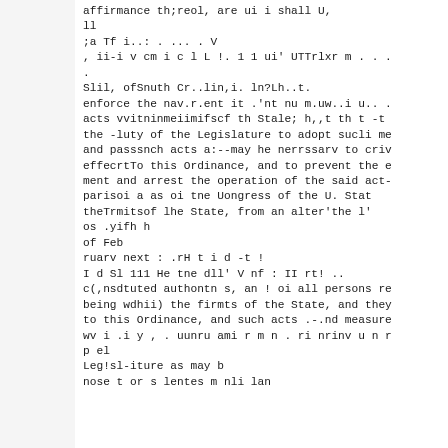affirmance th;reol, are ui i shall U,
ll
;a Tf i..: . ... . V
, ii-i v cm i c l L !. 1 1 ui' UTTrlxr m . . .
.
Slil, ofSnuth Cr..lin,i. ln?Lh..t.
enforce the nav.r.ent it .'nt nu m.uw..i u.. .
acts vvitninmeiimifscf th Stale; h,,t th t -t
the -luty of the Legislature to adopt sucli me
and passsnch acts a:--may he nerrssarv to criv
effecrtTo this Ordinance, and to prevent the e
ment and arrest the operation of the said act-
parisoi a as oi tne Uongress of the U. Stat
theTrmitsof lhe State, from an alter'the l'
os .yifh h
of Feb
ruarv next : .rH t i d -t !
I d Sl 111 He tne dll' V nf : II rt! ..
c(,nsdtuted authontn s, an ! oi all persons re
being wdhii) the firmts of the State, and they
to this Ordinance, and such acts .-.nd measure
wv i .i y , . uunru ami r m n . ri nrinv u n r
p el
Leg!sl-iture as may b
nose t or s lentes m nli lan